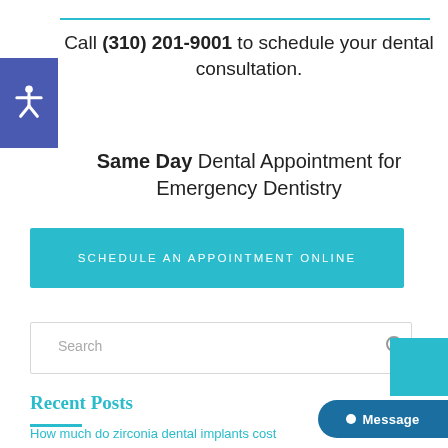Call (310) 201-9001 to schedule your dental consultation.
Same Day Dental Appointment for Emergency Dentistry
SCHEDULE AN APPOINTMENT ONLINE
Search
Recent Posts
How much do zirconia dental implants cost